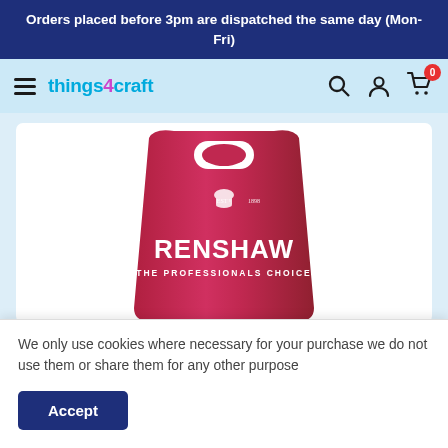Orders placed before 3pm are dispatched the same day (Mon-Fri)
[Figure (screenshot): things4craft website navigation bar with hamburger menu, logo, search icon, account icon, and cart icon with badge showing 0]
[Figure (photo): Renshaw red product bag with hanging hole, royal crest logo, text EST 1898, RENSHAW, THE PROFESSIONALS CHOICE]
We only use cookies where necessary for your purchase we do not use them or share them for any other purpose
Accept